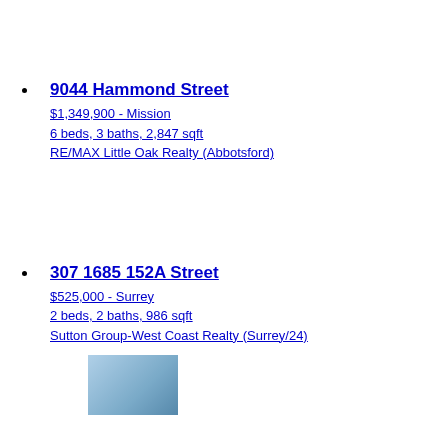9044 Hammond Street
$1,349,900 - Mission
6 beds, 3 baths, 2,847 sqft
RE/MAX Little Oak Realty (Abbotsford)
307 1685 152A Street
$525,000 - Surrey
2 beds, 2 baths, 986 sqft
Sutton Group-West Coast Realty (Surrey/24)
[Figure (photo): Thumbnail photo of a property listing for 307 1685 152A Street]